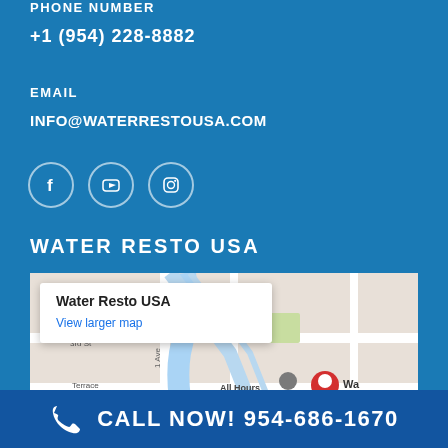PHONE NUMBER
+1 (954) 228-8882
EMAIL
INFO@WATERRESTOUSA.COM
[Figure (other): Social media icons: Facebook, YouTube, Instagram in circular outlines]
WATER RESTO USA
[Figure (map): Google Maps screenshot showing Water Resto USA location with a red pin marker and popup label reading 'Water Resto USA' with 'View larger map' link. Map shows streets and nearby business 'All Hours Emergency Water'.]
CALL NOW! 954-686-1670